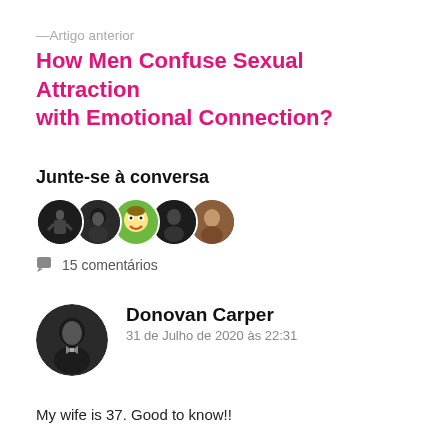—Artigo anterior
How Men Confuse Sexual Attraction with Emotional Connection?
Junte-se à conversa
[Figure (illustration): Five overlapping circular avatar photos of commenters]
15 comentários
[Figure (photo): Black and white circular avatar photo of Donovan Carper]
Donovan Carper
31 de Julho de 2020 às 22:31
My wife is 37. Good to know!!
Liked by 1 person